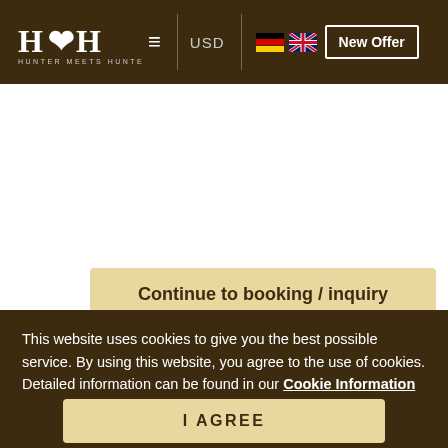HUNTER MEETS HUNTER — USD — New Offer
[Figure (screenshot): White content area (booking form area, partially visible)]
Continue to booking / inquiry
This website uses cookies to give you the best possible service. By using this website, you agree to the use of cookies. Detailed information can be found in our Cookie Information and in the privacy policy.
I AGREE